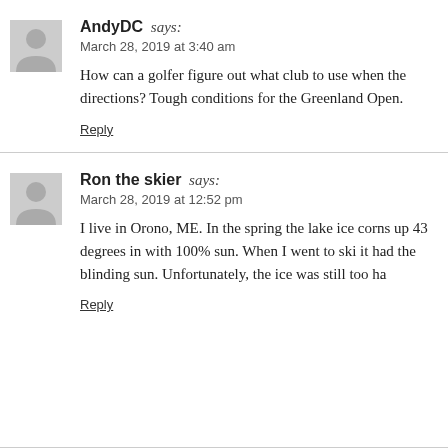AndyDC says:
March 28, 2019 at 3:40 am
How can a golfer figure out what club to use when the directions? Tough conditions for the Greenland Open.
Reply
Ron the skier says:
March 28, 2019 at 12:52 pm
I live in Orono, ME. In the spring the lake ice corns up 43 degrees in with 100% sun. When I went to ski it had the blinding sun. Unfortunately, the ice was still too ha
Reply